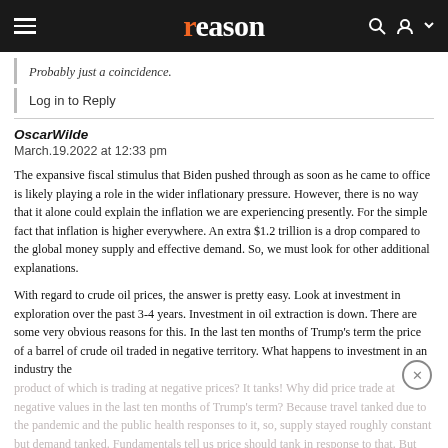reason
Probably just a coincidence.
Log in to Reply
OscarWilde
March.19.2022 at 12:33 pm
The expansive fiscal stimulus that Biden pushed through as soon as he came to office is likely playing a role in the wider inflationary pressure. However, there is no way that it alone could explain the inflation we are experiencing presently. For the simple fact that inflation is higher everywhere. An extra $1.2 trillion is a drop compared to the global money supply and effective demand. So, we must look for other additional explanations.
With regard to crude oil prices, the answer is pretty easy. Look at investment in exploration over the past 3-4 years. Investment in oil extraction is down. There are some very obvious reasons for this. In the last ten months of Trump's term the price of a barrel of crude oil traded in negative territory. What happens to investment in an industry the
product of which is trading at negative prices? It tanks! Why did price trade at negative values in the last ten months of Trump's term? Because travel tanked due to the pandemic and the public health responses to it, so, supply stayed roughly constant but demand tanked. Fundamentals tell us price should tank in response to that. But now, demand has recovered, but supply is slow to respond because the disinvestment to expand easily in